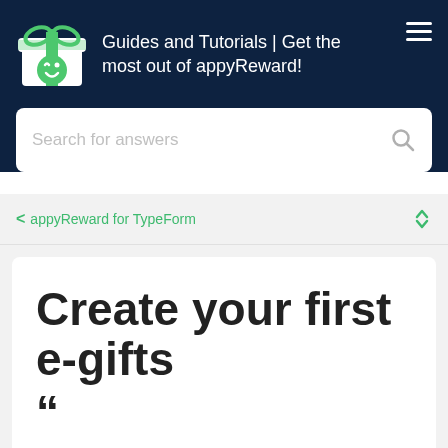[Figure (logo): appyReward logo: green gift box with smiley face icon]
Guides and Tutorials | Get the most out of appyReward!
Search for answers
< appyReward for TypeForm
Create your first e-gifts